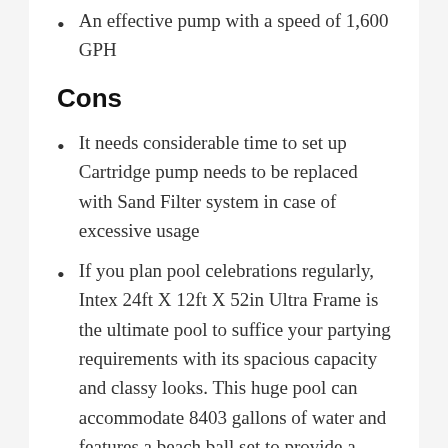An effective pump with a speed of 1,600 GPH
Cons
It needs considerable time to set up Cartridge pump needs to be replaced with Sand Filter system in case of excessive usage
If you plan pool celebrations regularly, Intex 24ft X 12ft X 52in Ultra Frame is the ultimate pool to suffice your partying requirements with its spacious capacity and classy looks. This huge pool can accommodate 8403 gallons of water and features a beach ball set to provide a beach established at your backyard.
An effective 1600 GPH pump is attended to an